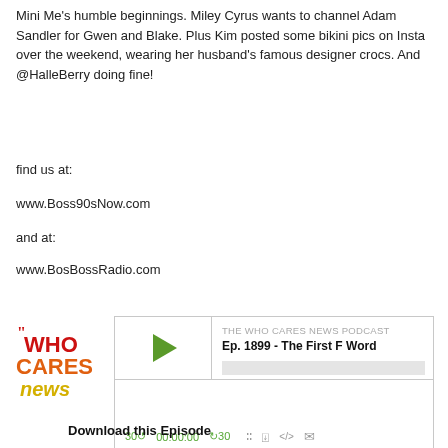Mini Me's humble beginnings.  Miley Cyrus wants to channel Adam Sandler for Gwen and Blake.  Plus Kim posted some bikini pics on Insta over the weekend, wearing her husband's famous designer crocs. And @HalleBerry doing fine!
find us at:
www.Boss90sNow.com
and at:
www.BosBossRadio.com
[Figure (screenshot): Podcast player widget for 'THE WHO CARES NEWS PODCAST' showing episode 'Ep. 1899 - The First F Word' with play button, progress bar, time 00:00:00, and playback controls. Who Cares News logo shown on left.]
Download this Episode
Ep. 1898 - The Gigantic Bowl!